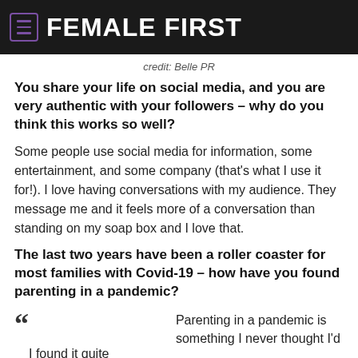FEMALE FIRST
credit: Belle PR
You share your life on social media, and you are very authentic with your followers – why do you think this works so well?
Some people use social media for information, some entertainment, and some company (that's what I use it for!). I love having conversations with my audience. They message me and it feels more of a conversation than standing on my soap box and I love that.
The last two years have been a roller coaster for most families with Covid-19 – how have you found parenting in a pandemic?
I found it quite
Parenting in a pandemic is something I never thought I'd